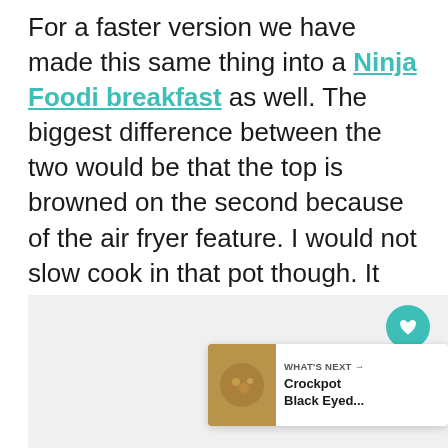For a faster version we have made this same thing into a Ninja Foodi breakfast as well. The biggest difference between the two would be that the top is browned on the second because of the air fryer feature. I would not slow cook in that pot though. It does have that setting but it does NOT work well at all, skip that.
[Figure (screenshot): Gray placeholder image area with UI overlay elements: a teal heart/favorite button, a white share button, and a 'What's Next' card showing Crockpot Black Eyed... with a food thumbnail image.]